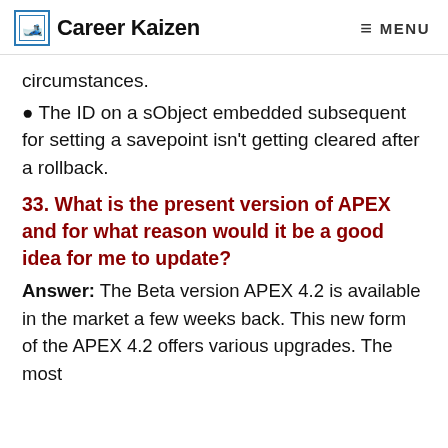Career Kaizen | MENU
circumstances.
The ID on a sObject embedded subsequent for setting a savepoint isn't getting cleared after a rollback.
33. What is the present version of APEX and for what reason would it be a good idea for me to update?
Answer: The Beta version APEX 4.2 is available in the market a few weeks back. This new form of the APEX 4.2 offers various upgrades. The most